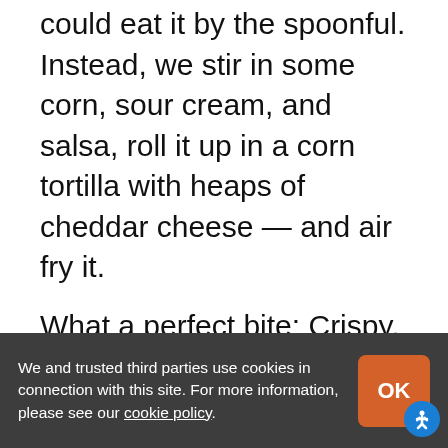could eat it by the spoonful. Instead, we stir in some corn, sour cream, and salsa, roll it up in a corn tortilla with heaps of cheddar cheese — and air fry it.
What a perfect bite: Crispy, fried corn tortilla on the outside, tender filling on the inside. The filling is a little spicy, a little creamy, a little juicy. We love those little pops of sweet corn. In short, these taquitos have all the flavor and texture you want from taquitos, but without the heaviness of their deep-fried counterparts — or the splattery mess.
We and trusted third parties use cookies in connection with this site. For more information, please see our cookie policy.